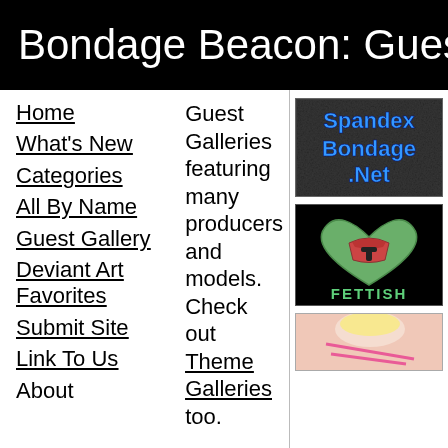Bondage Beacon: Gues
Home
What's New
Categories
All By Name
Guest Gallery
Deviant Art Favorites
Submit Site
Link To Us
About
Guest Galleries featuring many producers and models. Check out Theme Galleries too.
[Figure (logo): Spandex Bondage .Net logo with blue bold text on dark textured background]
[Figure (illustration): Heart-shaped Boba Fett helmet illustration with FETTISH text below on black background]
[Figure (photo): Partial photo of a blonde person with pink ropes, cropped]